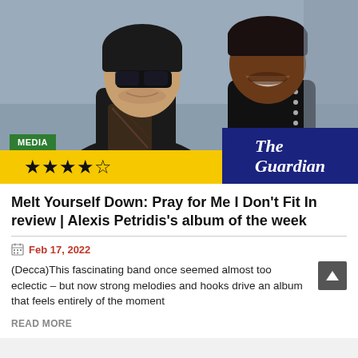[Figure (photo): Two men smiling. The man on the left wears dark sunglasses and a black jacket with a patterned scarf. The man on the right wears a black leather jacket. A green 'MEDIA' label, a yellow bar with 4 out of 5 stars, and The Guardian logo overlay the bottom of the photo.]
Melt Yourself Down: Pray for Me I Don't Fit In review | Alexis Petridis's album of the week
Feb 17, 2022
(Decca)This fascinating band once seemed almost too eclectic – but now strong melodies and hooks drive an album that feels entirely of the moment
READ MORE